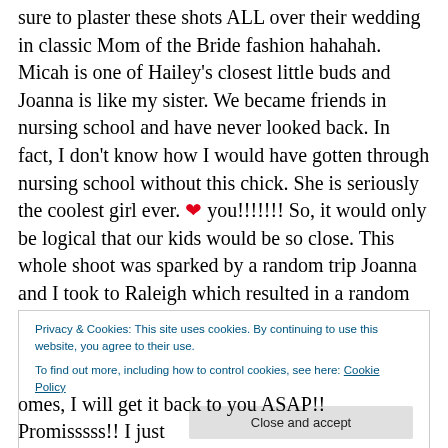sure to plaster these shots ALL over their wedding in classic Mom of the Bride fashion hahahah. Micah is one of Hailey's closest little buds and Joanna is like my sister. We became friends in nursing school and have never looked back. In fact, I don't know how I would have gotten through nursing school without this chick. She is seriously the coolest girl ever. ❤ you!!!!!!! So, it would only be logical that our kids would be so close. This whole shoot was sparked by a random trip Joanna and I took to Raleigh which resulted in a random stop at Target where we saw the little dress Hailey is wearing and had to get it.
Privacy & Cookies: This site uses cookies. By continuing to use this website, you agree to their use.
To find out more, including how to control cookies, see here: Cookie Policy
omes, I will get it back to you ASAP!! Promisssss!! I just